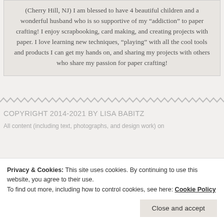(Cherry Hill, NJ) I am blessed to have 4 beautiful children and a wonderful husband who is so supportive of my "addiction" to paper crafting! I enjoy scrapbooking, card making, and creating projects with paper. I love learning new techniques, "playing" with all the cool tools and products I can get my hands on, and sharing my projects with others who share my passion for paper crafting!
[Figure (other): Zigzag/wavy decorative divider line in gray]
COPYRIGHT 2014-2021 BY LISA BABITZ
All content (including text, photographs, and design work) on ...
Privacy & Cookies: This site uses cookies. By continuing to use this website, you agree to their use. To find out more, including how to control cookies, see here: Cookie Policy
projects are welcome and greatly appreciated!